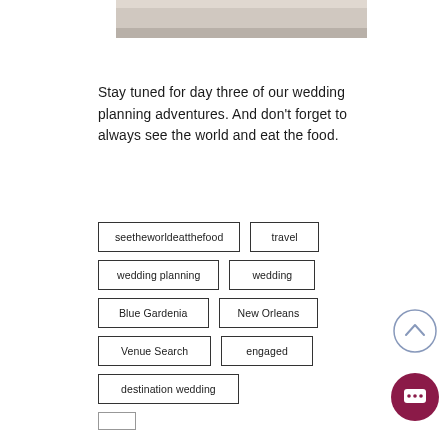[Figure (photo): Partial top edge of a photo showing a light surface, cropped at top of page]
Stay tuned for day three of our wedding planning adventures. And don't forget to always see the world and eat the food.
seetheworldeatthefood
travel
wedding planning
wedding
Blue Gardenia
New Orleans
Venue Search
engaged
destination wedding